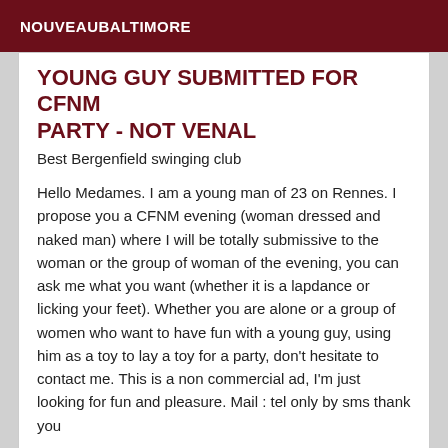NOUVEAUBALTIMORE
YOUNG GUY SUBMITTED FOR CFNM PARTY - NOT VENAL
Best Bergenfield swinging club
Hello Medames. I am a young man of 23 on Rennes. I propose you a CFNM evening (woman dressed and naked man) where I will be totally submissive to the woman or the group of woman of the evening, you can ask me what you want (whether it is a lapdance or licking your feet). Whether you are alone or a group of women who want to have fun with a young guy, using him as a toy to lay a toy for a party, don't hesitate to contact me. This is a non commercial ad, I'm just looking for fun and pleasure. Mail : tel only by sms thank you
Verified